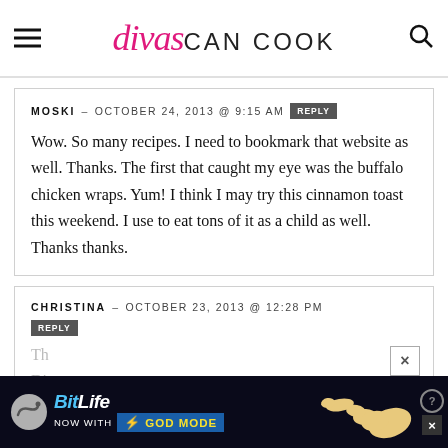divas CAN COOK
MOSKI – OCTOBER 24, 2013 @ 9:15 AM  REPLY
Wow. So many recipes. I need to bookmark that website as well. Thanks. The first that caught my eye was the buffalo chicken wraps. Yum! I think I may try this cinnamon toast this weekend. I use to eat tons of it as a child as well. Thanks thanks.
CHRISTINA – OCTOBER 23, 2013 @ 12:28 PM  REPLY
[Figure (screenshot): BitLife advertisement banner: NOW WITH GOD MODE, with a cartoon hand pointing, help circle and close buttons]